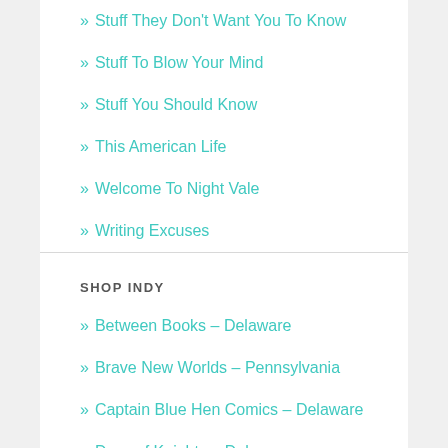» Stuff They Don't Want You To Know
» Stuff To Blow Your Mind
» Stuff You Should Know
» This American Life
» Welcome To Night Vale
» Writing Excuses
SHOP INDY
» Between Books – Delaware
» Brave New Worlds – Pennsylvania
» Captain Blue Hen Comics – Delaware
» Days of Knights – Delaware
» Samurai Comics – Arizona
» Showcase Comics – Pennsylvania